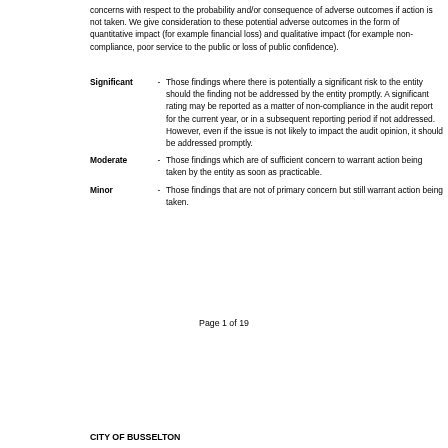concerns with respect to the probability and/or consequence of adverse outcomes if action is not taken. We give consideration to these potential adverse outcomes in the form of quantitative impact (for example financial loss) and qualitative impact (for example non-compliance, poor service to the public or loss of public confidence).
Significant - Those findings where there is potentially a significant risk to the entity should the finding not be addressed by the entity promptly. A significant rating may be reported as a matter of non-compliance in the audit report for the current year, or in a subsequent reporting period if not addressed. However, even if the issue is not likely to impact the audit opinion, it should be addressed promptly.
Moderate - Those findings which are of sufficient concern to warrant action being taken by the entity as soon as practicable.
Minor - Those findings that are not of primary concern but still warrant action being taken.
Page 1 of 19
CITY OF BUSSELTON